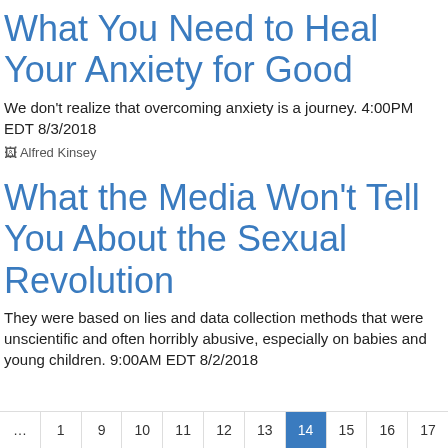What You Need to Heal Your Anxiety for Good
We don't realize that overcoming anxiety is a journey. 4:00PM EDT 8/3/2018
[Figure (photo): Broken image placeholder labeled Alfred Kinsey]
What the Media Won't Tell You About the Sexual Revolution
They were based on lies and data collection methods that were unscientific and often horribly abusive, especially on babies and young children. 9:00AM EDT 8/2/2018
... 1 9 10 11 12 13 14 15 16 17